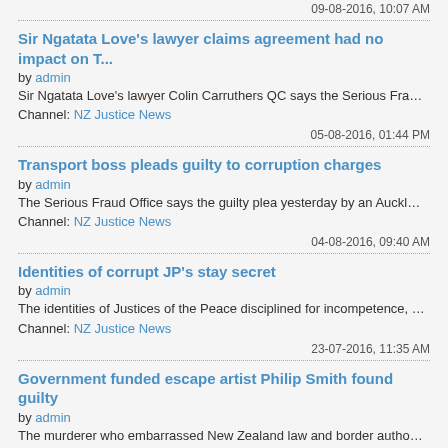09-08-2016, 10:07 AM
Sir Ngatata Love's lawyer claims agreement had no impact on T...
by admin
Sir Ngatata Love's lawyer Colin Carruthers QC says the Serious Fra...
Channel: NZ Justice News
05-08-2016, 01:44 PM
Transport boss pleads guilty to corruption charges
by admin
The Serious Fraud Office says the guilty plea yesterday by an Auckl...
Channel: NZ Justice News
04-08-2016, 09:40 AM
Identities of corrupt JP's stay secret
by admin
The identities of Justices of the Peace disciplined for incompetence, ...
Channel: NZ Justice News
23-07-2016, 11:35 AM
Government funded escape artist Philip Smith found guilty
by admin
The murderer who embarrassed New Zealand law and border autho...
Channel: NZ Justice News
22-07-2016, 01:05 PM